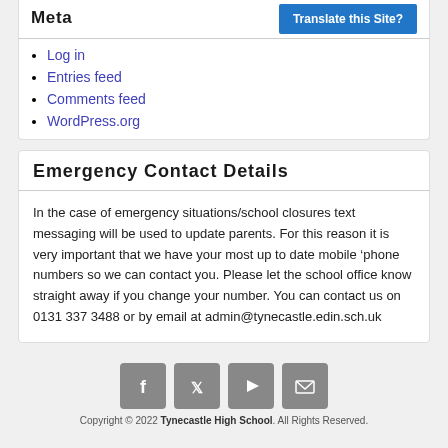Meta
Log in
Entries feed
Comments feed
WordPress.org
Emergency Contact Details
In the case of emergency situations/school closures text messaging will be used to update parents. For this reason it is very important that we have your most up to date mobile ‘phone numbers so we can contact you. Please let the school office know straight away if you change your number. You can contact us on 0131 337 3488 or by email at admin@tynecastle.edin.sch.uk
[Figure (other): Row of four social media icons: Facebook, Twitter, YouTube, Email (envelope), rendered as grey rounded squares]
Copyright © 2022 Tynecastle High School. All Rights Reserved.